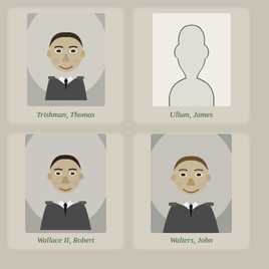[Figure (photo): Black and white military portrait of Trishman, Thomas — young man in uniform with tie, smiling]
Trishman, Thomas
[Figure (photo): Placeholder silhouette outline of a person on white background for Ullum, James — no photo available]
Ullum, James
[Figure (photo): Black and white military portrait of Wallace II, Robert — young man in uniform with tie, slight smile]
Wallace II, Robert
[Figure (photo): Black and white military portrait of Walters, John — young man in uniform with tie, smiling]
Walters, John